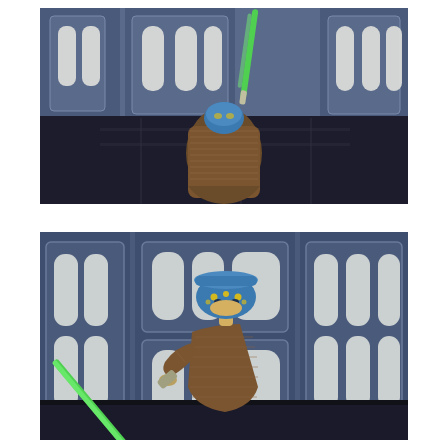[Figure (photo): Top-down back view of a small Star Wars alien action figure wearing a brown burlap Jedi robe, holding a green lightsaber, standing on a dark reflective surface in front of a sci-fi blue panel backdrop. The figure's blue head with yellow markings is visible at the top.]
[Figure (photo): Front-facing view of a small Star Wars alien Jedi action figure with a blue head and yellow facial markings, wearing a brown burlap robe, holding a green lightsaber diagonally. Background is a blue sci-fi panel backdrop with white oval details.]